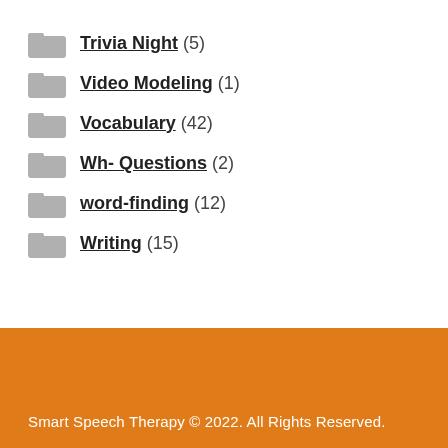Trivia Night (5)
Video Modeling (1)
Vocabulary (42)
Wh- Questions (2)
word-finding (12)
Writing (15)
Smart Speech Therapy © 2022. All Rights Reserved.